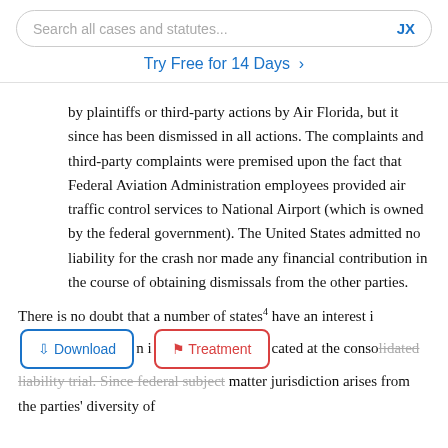Search all cases and statutes...   JX
Try Free for 14 Days >
by plaintiffs or third-party actions by Air Florida, but it since has been dismissed in all actions. The complaints and third-party complaints were premised upon the fact that Federal Aviation Administration employees provided air traffic control services to National Airport (which is owned by the federal government). The United States admitted no liability for the crash nor made any financial contribution in the course of obtaining dismissals from the other parties.
There is no doubt that a number of states4 have an interest in [Download] [Treatment] cated at the consolidated liability trial. Since federal subject matter jurisdiction arises from the parties' diversity of